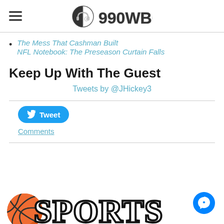990WBOB
The Mess That Cashman Built
NFL Notebook:  The Preseason Curtain Falls
Keep Up With The Guest
Tweets by @JHickey3
Tweet
Comments
[Figure (logo): Sports logo with bold serif text 'SPORTS' and a figure icon at bottom of page]